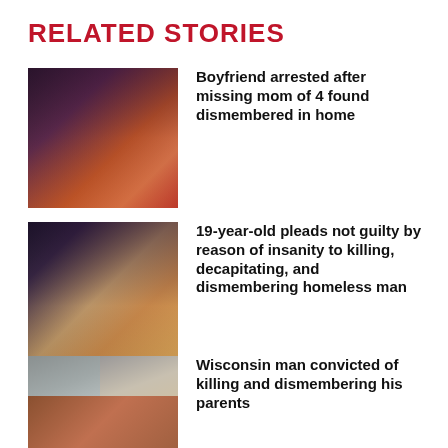RELATED STORIES
[Figure (photo): Headshot of a woman with curly hair wearing a red top]
Boyfriend arrested after missing mom of 4 found dismembered in home
[Figure (photo): Mugshot of a young person with brown hair wearing a yellow and white shirt]
19-year-old pleads not guilty by reason of insanity to killing, decapitating, and dismembering homeless man
[Figure (photo): Two photos side by side: a mugshot of a young man, and a casual photo of a bald man in a blue shirt]
Wisconsin man convicted of killing and dismembering his parents
[Figure (photo): Partial photo at the bottom of the page, cropped]